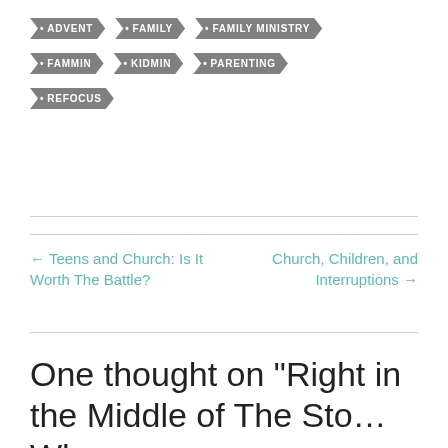• ADVENT
• FAMILY
• FAMILY MINISTRY
• FAMMIN
• KIDMIN
• PARENTING
• REFOCUS
← Teens and Church: Is It Worth The Battle?
Church, Children, and Interruptions →
One thought on “Right in the Middle of The Sto… Wh…